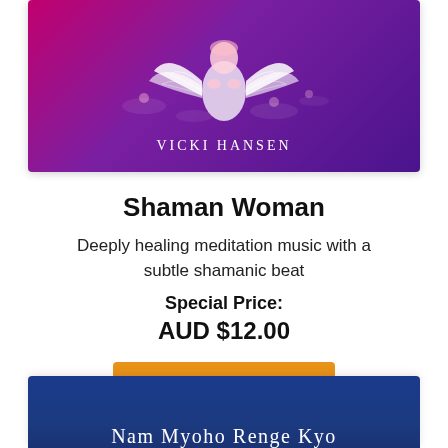[Figure (illustration): Album cover art for 'Shaman Woman' by Vicki Hansen. Purple/magenta gradient background with lotus flowers and a stylized white swan or angelic figure. Author name 'VICKI HANSEN' at bottom in spaced white serif letters.]
Shaman Woman
Deeply healing meditation music with a subtle shamanic beat
Special Price:
AUD $12.00
Add to Cart
[Figure (illustration): Bottom portion of another album cover with dark blue background, partially visible text reading 'Nam Myoho Renge Kyo']